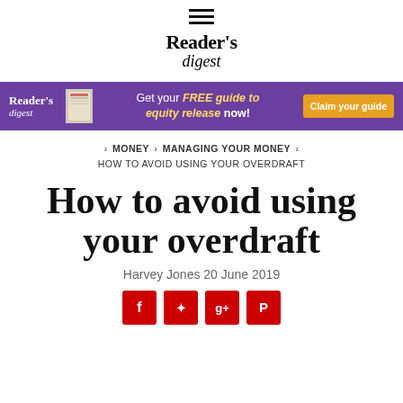[Figure (logo): Hamburger menu icon with three horizontal lines]
[Figure (logo): Reader's Digest logo — serif text with Reader's above digest]
[Figure (infographic): Purple advertisement banner: Reader's digest logo, book image, text 'Get your FREE guide to equity release now!', orange 'Claim your guide' button]
MONEY > MANAGING YOUR MONEY > HOW TO AVOID USING YOUR OVERDRAFT
How to avoid using your overdraft
Harvey Jones 20 June 2019
[Figure (infographic): Social media share icons: Facebook, Twitter, Google+, Pinterest — red square buttons with white icons]